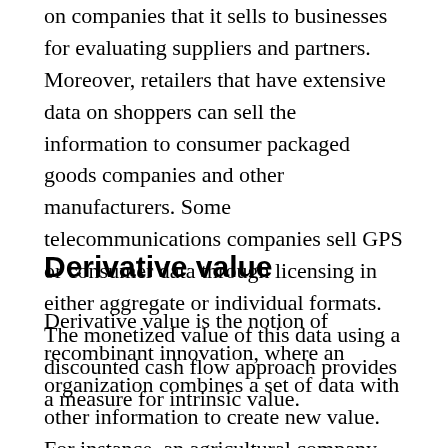on companies that it sells to businesses for evaluating suppliers and partners. Moreover, retailers that have extensive data on shoppers can sell the information to consumer packaged goods companies and other manufacturers. Some telecommunications companies sell GPS or consumer data through licensing in either aggregate or individual formats. The monetized value of this data using a discounted cash flow approach provides a measure for intrinsic value.
Derivative value
Derivative value is the notion of recombinant innovation, where an organization combines a set of data with other information to create new value. For instance, an agricultural company can combine weather data organized by zip code with data on the soil and weeds by zip code, as well as the seed